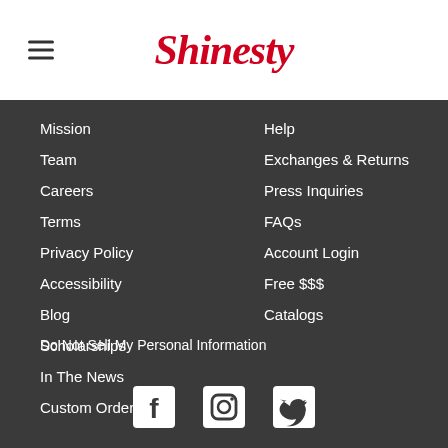Shinesty
Mission
Team
Careers
Terms
Privacy Policy
Accessibility
Blog
Scholarships
In The News
Custom Orders
Help
Exchanges & Returns
Press Inquiries
FAQs
Account Login
Free $$$
Catalogs
Do Not Sell My Personal Information
[Figure (other): Social media icons: Facebook, Instagram, Twitter]